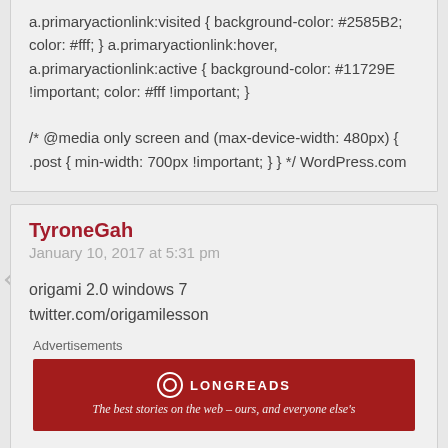a.primaryactionlink:visited { background-color: #2585B2; color: #fff; } a.primaryactionlink:hover, a.primaryactionlink:active { background-color: #11729E !important; color: #fff !important; }

/* @media only screen and (max-device-width: 480px) { .post { min-width: 700px !important; } } */ WordPress.com
TyroneGah
January 10, 2017 at 5:31 pm
origami 2.0 windows 7 twitter.com/origamilesson
Advertisements
[Figure (logo): Longreads advertisement banner: red background with Longreads logo and tagline 'The best stories on the web – ours, and everyone else's']